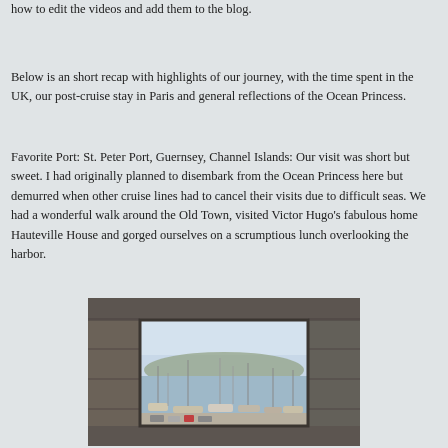how to edit the videos and add them to the blog.
Below is an short recap with highlights of our journey, with the time spent in the UK, our post-cruise stay in Paris and general reflections of the Ocean Princess.
Favorite Port: St. Peter Port, Guernsey, Channel Islands: Our visit was short but sweet. I had originally planned to disembark from the Ocean Princess here but demurred when other cruise lines had to cancel their visits due to difficult seas. We had a wonderful walk around the Old Town, visited Victor Hugo’s fabulous home Hauteville House and gorged ourselves on a scrumptious lunch overlooking the harbor.
[Figure (photo): View through a stone archway or window frame looking out onto a marina/harbor with sailboats and masts visible, hills in the background under a hazy sky.]